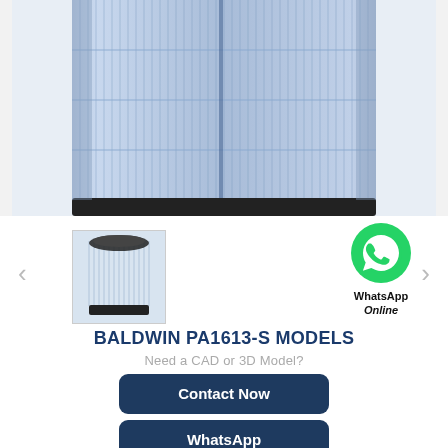[Figure (photo): Close-up product photo of a cylindrical blue pleated air filter (Baldwin PA1613-S) showing vertical pleats and horizontal ridges, black base visible at bottom.]
[Figure (photo): Thumbnail image of the same Baldwin PA1613-S cylindrical blue air filter, shown from a slightly elevated angle with the black top cap visible.]
BALDWIN PA1613-S MODELS
Need a CAD or 3D Model?
Contact Now
WhatsApp
Be Our Agent